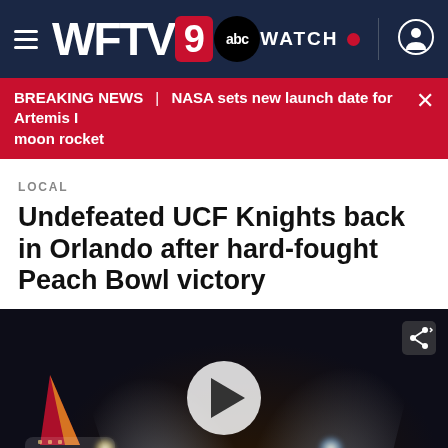WFTV 9 abc — WATCH
BREAKING NEWS | NASA sets new launch date for Artemis I moon rocket
LOCAL
Undefeated UCF Knights back in Orlando after hard-fought Peach Bowl victory
[Figure (photo): Night scene at airport tarmac showing a Southwest Airlines plane being celebrated with water cannon salute, colorful lights visible. Video thumbnail with play button overlay and share icon.]